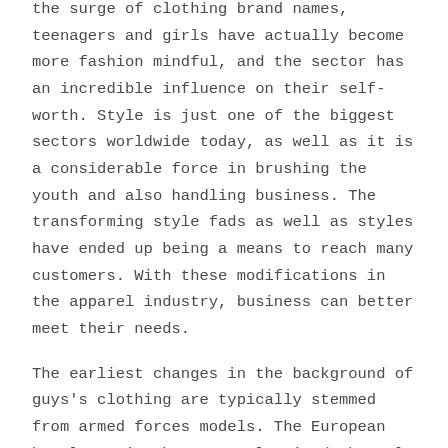the surge of clothing brand names, teenagers and girls have actually become more fashion mindful, and the sector has an incredible influence on their self-worth. Style is just one of the biggest sectors worldwide today, as well as it is a considerable force in brushing the youth and also handling business. The transforming style fads as well as styles have ended up being a means to reach many customers. With these modifications in the apparel industry, business can better meet their needs.
The earliest changes in the background of guys's clothing are typically stemmed from armed forces models. The European battle movie theaters galvanized the male silhouette as well as gentleman policemans had the ability to observe and also talk about the various styles that appeared. In this age, men's over-garments dramatically reduced and also were usually filled with